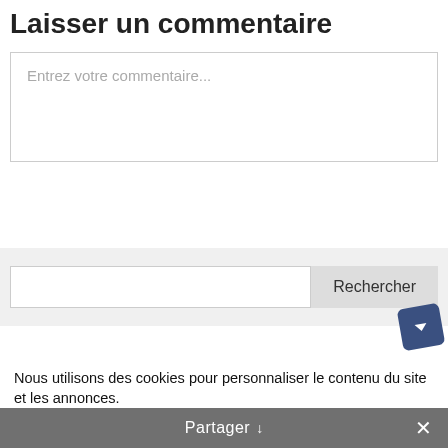Laisser un commentaire
Entrez votre commentaire...
Rechercher
[Figure (screenshot): Cookie consent icon — dark blue rotated square with a white dropdown arrow]
Nous utilisons des cookies pour personnaliser le contenu du site et les annonces.
Réglages
Tout accepter
Partager ∨  ✕